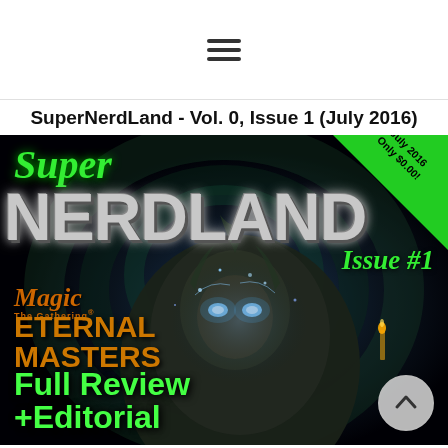☰
SuperNerdLand - Vol. 0, Issue 1 (July 2016)
[Figure (illustration): Magazine cover for SuperNerdLand Vol. 0 Issue 1 (July 2016). Dark fantasy illustration featuring a mystical female figure with glowing blue eyes surrounded by magical energy. Text overlays include: 'Super' in green italic script, 'NERDLAND' in large silver/chrome letters, 'Issue #1' in green italic, a green triangle banner in top-right corner reading 'July 2016 Only $0.00!', Magic: The Gathering logo, 'ETERNAL MASTERS' in orange, 'Full Review +Editorial' in bright green. A circular scroll-up button appears in the bottom-right corner.]